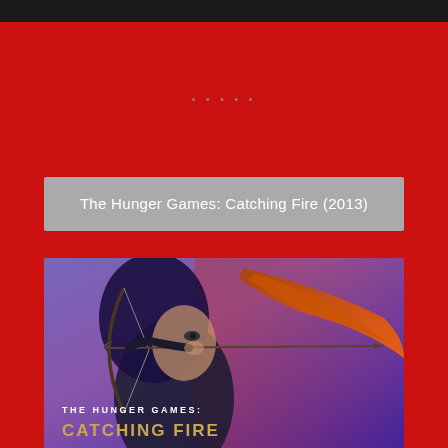• • • • •
The Hunger Games: Catching Fire (2013)
[Figure (photo): Movie poster for The Hunger Games: Catching Fire (2013) showing a woman drawing a bow and arrow with text 'THE HUNGER GAMES: CATCHING FIRE' in gold and white letters at the bottom, purple-blue toned background.]